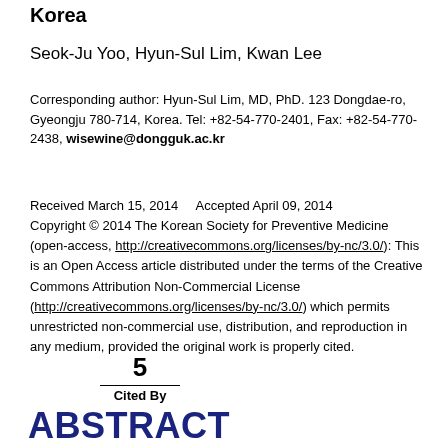Korea
Seok-Ju Yoo, Hyun-Sul Lim, Kwan Lee
Corresponding author: Hyun-Sul Lim, MD, PhD. 123 Dongdae-ro, Gyeongju 780-714, Korea. Tel: +82-54-770-2401, Fax: +82-54-770-2438, wisewine@dongguk.ac.kr
Received March 15, 2014    Accepted April 09, 2014
Copyright © 2014 The Korean Society for Preventive Medicine (open-access, http://creativecommons.org/licenses/by-nc/3.0/): This is an Open Access article distributed under the terms of the Creative Commons Attribution Non-Commercial License (http://creativecommons.org/licenses/by-nc/3.0/) which permits unrestricted non-commercial use, distribution, and reproduction in any medium, provided the original work is properly cited.
5
Cited By
ABSTRACT